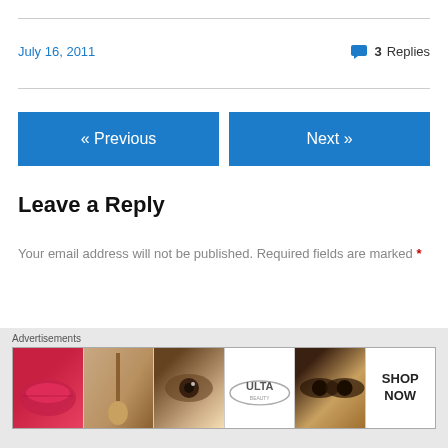July 16, 2011
3 Replies
« Previous
Next »
Leave a Reply
Your email address will not be published. Required fields are marked *
Comment *
[Figure (other): Advertisement banner showing Ulta beauty products with lip, brush, eye, Ulta logo, eyes, and SHOP NOW sections]
Advertisements